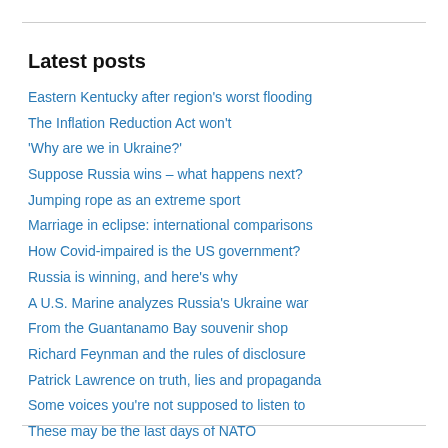Latest posts
Eastern Kentucky after region's worst flooding
The Inflation Reduction Act won't
'Why are we in Ukraine?'
Suppose Russia wins – what happens next?
Jumping rope as an extreme sport
Marriage in eclipse: international comparisons
How Covid-impaired is the US government?
Russia is winning, and here's why
A U.S. Marine analyzes Russia's Ukraine war
From the Guantanamo Bay souvenir shop
Richard Feynman and the rules of disclosure
Patrick Lawrence on truth, lies and propaganda
Some voices you're not supposed to listen to
These may be the last days of NATO
Graft, corruption and Vladimir Putin's ex-wife